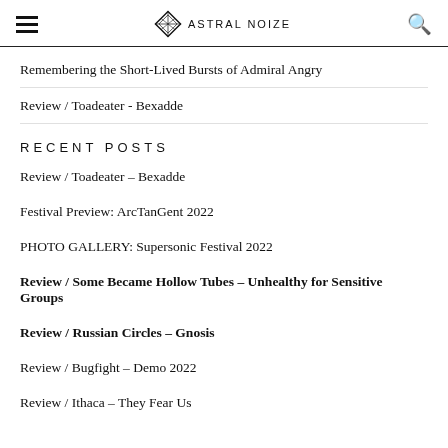ASTRAL NOIZE
Remembering the Short-Lived Bursts of Admiral Angry
Review / Toadeater - Bexadde
RECENT POSTS
Review / Toadeater – Bexadde
Festival Preview: ArcTanGent 2022
PHOTO GALLERY: Supersonic Festival 2022
Review / Some Became Hollow Tubes – Unhealthy for Sensitive Groups
Review / Russian Circles – Gnosis
Review / Bugfight – Demo 2022
Review / Ithaca – They Fear Us